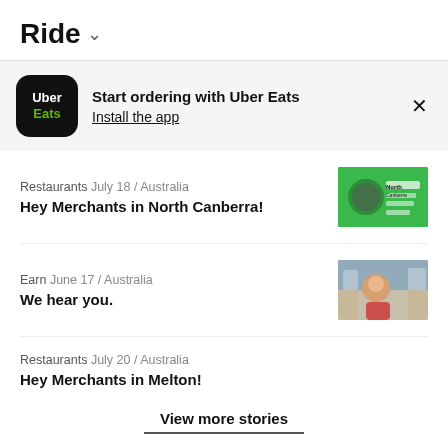Ride ˅
[Figure (infographic): Uber Eats app promotion banner with black rounded square logo showing 'Uber' in white and 'Eats' in green, with text 'Start ordering with Uber Eats' and 'Install the app' link, and an X close button]
Restaurants July 18 / Australia
Hey Merchants in North Canberra!
Earn June 17 / Australia
We hear you.
Restaurants July 20 / Australia
Hey Merchants in Melton!
View more stories